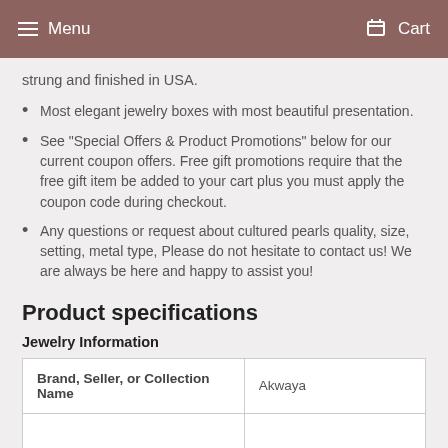Menu   Cart
strung and finished in USA.
Most elegant jewelry boxes with most beautiful presentation.
See "Special Offers & Product Promotions" below for our current coupon offers. Free gift promotions require that the free gift item be added to your cart plus you must apply the coupon code during checkout.
Any questions or request about cultured pearls quality, size, setting, metal type, Please do not hesitate to contact us! We are always be here and happy to assist you!
Product specifications
Jewelry Information
| Brand, Seller, or Collection Name |  |
| --- | --- |
| Brand, Seller, or Collection Name | Akwaya |